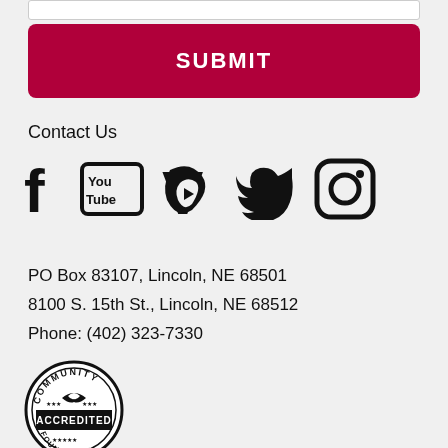[Figure (screenshot): White input bar at the top of the page]
SUBMIT
Contact Us
[Figure (infographic): Social media icons: Facebook, YouTube, Vimeo, Twitter, Instagram]
PO Box 83107, Lincoln, NE 68501
8100 S. 15th St., Lincoln, NE 68512
Phone: (402) 323-7330
[Figure (logo): Community Accredited Foundation circular badge/seal logo]